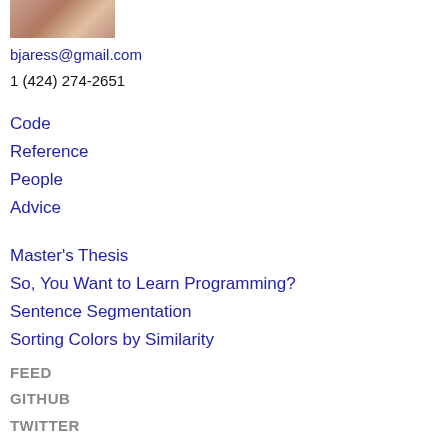[Figure (photo): Partial photo of a person cropped at top of page]
bjaress@gmail.com
1 (424) 274-2651
Code
Reference
People
Advice
Master's Thesis
So, You Want to Learn Programming?
Sentence Segmentation
Sorting Colors by Similarity
FEED
GITHUB
TWITTER